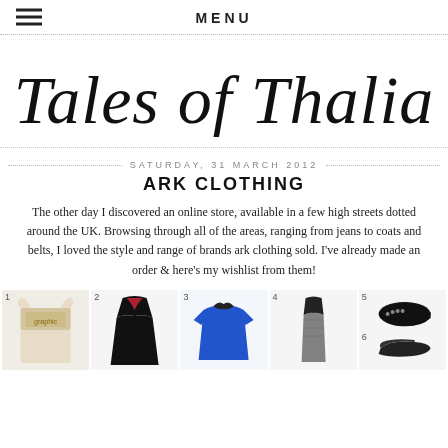MENU
Tales of Thalia
SATURDAY, 31 MARCH 2012
ARK CLOTHING
The other day I discovered an online store, available in a few high streets dotted around the UK. Browsing through all of the areas, ranging from jeans to coats and belts, I loved the style and range of brands ark clothing sold. I've already made an order & here's my wishlist from them!
[Figure (photo): Six numbered clothing/shoe product images: 1-beige graphic top, 2-black dress, 3-blue shirt with collar, 4-black sheer top, 5-black studded loafer, 6-black flat shoe]